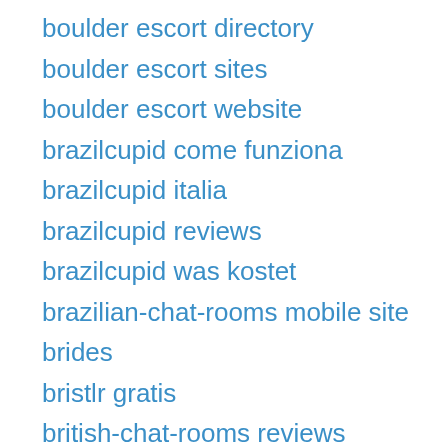boulder escort directory
boulder escort sites
boulder escort website
brazilcupid come funziona
brazilcupid italia
brazilcupid reviews
brazilcupid was kostet
brazilian-chat-rooms mobile site
brides
bristlr gratis
british-chat-rooms reviews
broken-arrow the escort
brony-dating mobile site
bronymate search
brownsville escort